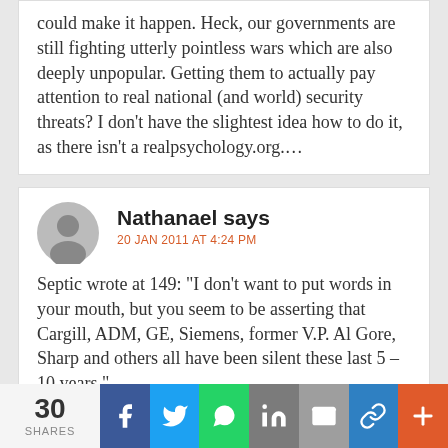could make it happen. Heck, our governments are still fighting utterly pointless wars which are also deeply unpopular. Getting them to actually pay attention to real national (and world) security threats? I don't have the slightest idea how to do it, as there isn't a realpsychology.org….
Nathanael says
20 JAN 2011 AT 4:24 PM
Septic wrote at 149: "I don't want to put words in your mouth, but you seem to be asserting that Cargill, ADM, GE, Siemens, former V.P. Al Gore, Sharp and others all have been silent these last 5 – 10 years."

The problem is that they are outfunded by first, the oil industry and second, a much worse group.
30 SHARES  f  Twitter  WhatsApp  in  Email  Link  +